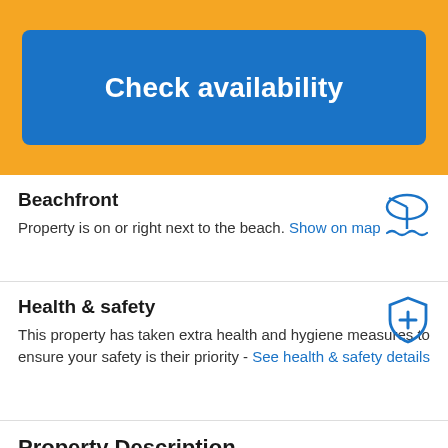[Figure (other): Yellow banner with blue 'Check availability' button]
Beachfront
Property is on or right next to the beach. Show on map
[Figure (illustration): Beach umbrella with waves icon in blue]
Health & safety
This property has taken extra health and hygiene measures to ensure your safety is their priority - See health & safety details
[Figure (illustration): Blue shield with cross/plus icon]
Property Description
Offering panoramic views over the Mediterranean Sea, David Tower Hotel Netanya is set in the center of Netanya and only 500